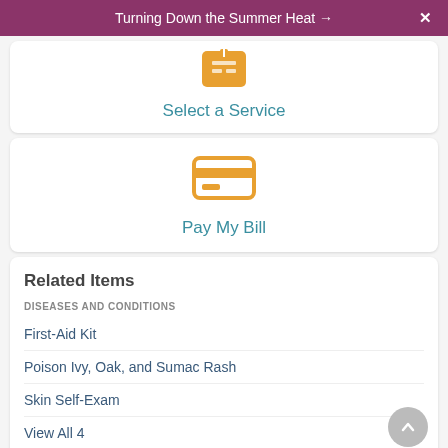Turning Down the Summer Heat →  X
[Figure (illustration): Orange grid/service icon button]
Select a Service
[Figure (illustration): Orange credit card icon]
Pay My Bill
Related Items
DISEASES AND CONDITIONS
First-Aid Kit
Poison Ivy, Oak, and Sumac Rash
Skin Self-Exam
View All 4